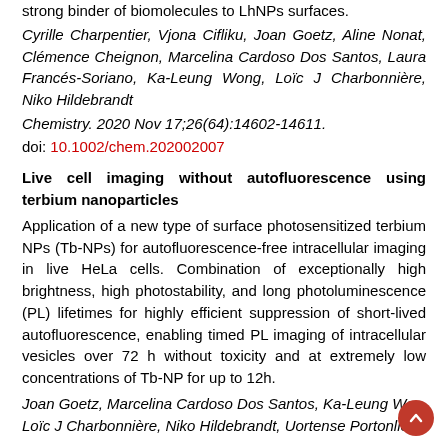strong binder of biomolecules to LhNPs surfaces.
Cyrille Charpentier, Vjona Cifliku, Joan Goetz, Aline Nonat, Clémence Cheignon, Marcelina Cardoso Dos Santos, Laura Francés-Soriano, Ka-Leung Wong, Loïc J Charbonnière, Niko Hildebrandt
Chemistry. 2020 Nov 17;26(64):14602-14611.
doi: 10.1002/chem.202002007
Live cell imaging without autofluorescence using terbium nanoparticles
Application of a new type of surface photosensitized terbium NPs (Tb-NPs) for autofluorescence-free intracellular imaging in live HeLa cells. Combination of exceptionally high brightness, high photostability, and long photoluminescence (PL) lifetimes for highly efficient suppression of short-lived autofluorescence, enabling timed PL imaging of intracellular vesicles over 72 h without toxicity and at extremely low concentrations of Tb-NP for up to 12h.
Joan Goetz, Marcelina Cardoso Dos Santos, Ka-Leung Wong, Loïc J Charbonnière, Niko Hildebrandt, Uortense Portonlion